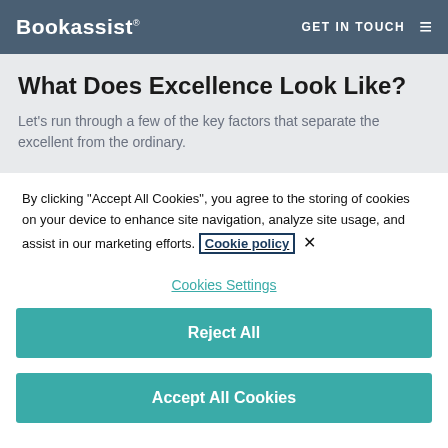Bookassist® GET IN TOUCH ☰
What Does Excellence Look Like?
Let's run through a few of the key factors that separate the excellent from the ordinary.
By clicking "Accept All Cookies", you agree to the storing of cookies on your device to enhance site navigation, analyze site usage, and assist in our marketing efforts. Cookie policy ×
Cookies Settings
Reject All
Accept All Cookies